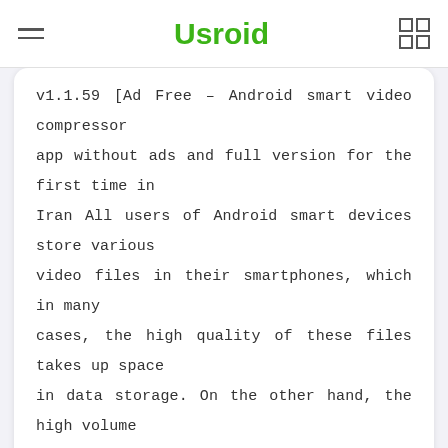Usroid
v1.1.59 [Ad Free – Android smart video compressor app without ads and full version for the first time in Iran All users of Android smart devices store various video files in their smartphones, which in many cases, the high quality of these files takes up space in data storage. On the other hand, the high volume of videos makes it …
Details and download
Video Converter & Compressor 0.9.7 – Audio and video format converter